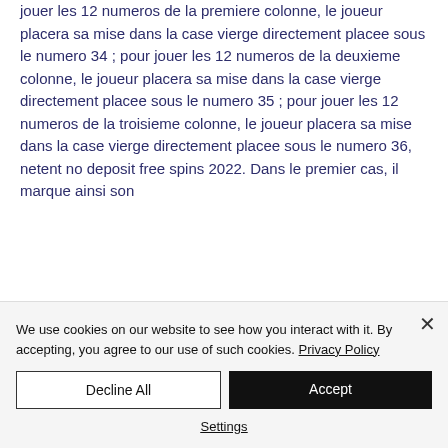jouer les 12 numeros de la premiere colonne, le joueur placera sa mise dans la case vierge directement placee sous le numero 34 ; pour jouer les 12 numeros de la deuxieme colonne, le joueur placera sa mise dans la case vierge directement placee sous le numero 35 ; pour jouer les 12 numeros de la troisieme colonne, le joueur placera sa mise dans la case vierge directement placee sous le numero 36, netent no deposit free spins 2022. Dans le premier cas, il marque ainsi son
We use cookies on our website to see how you interact with it. By accepting, you agree to our use of such cookies. Privacy Policy
Decline All
Accept
Settings